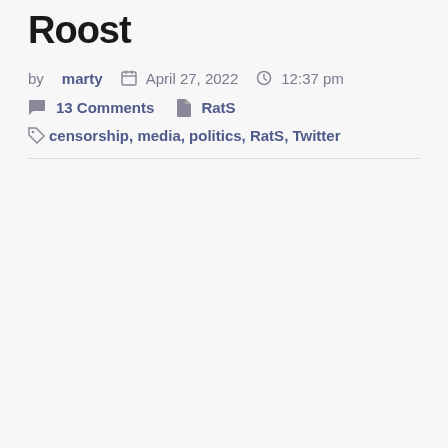Roost
by marty  April 27, 2022  12:37 pm
13 Comments  RatS
censorship, media, politics, RatS, Twitter